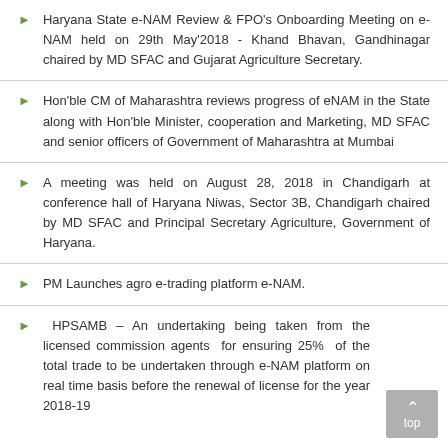Haryana State e-NAM Review & FPO's Onboarding Meeting on e-NAM held on 29th May'2018 - Khand Bhavan, Gandhinagar chaired by MD SFAC and Gujarat Agriculture Secretary.
Hon'ble CM of Maharashtra reviews progress of eNAM in the State along with Hon'ble Minister, cooperation and Marketing, MD SFAC and senior officers of Government of Maharashtra at Mumbai
A meeting was held on August 28, 2018 in Chandigarh at conference hall of Haryana Niwas, Sector 3B, Chandigarh chaired by MD SFAC and Principal Secretary Agriculture, Government of Haryana.
PM Launches agro e-trading platform e-NAM.
HPSAMB – An undertaking being taken from the licensed commission agents for ensuring 25% of the total trade to be undertaken through e-NAM platform on real time basis before the renewal of license for the year 2018-19